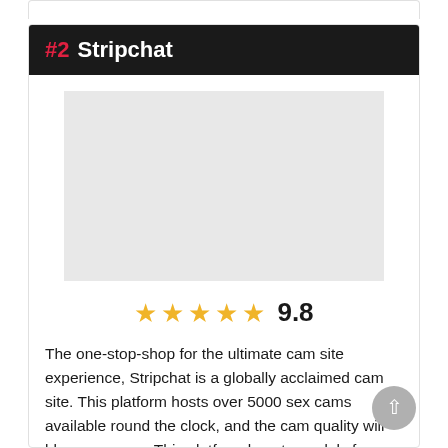#2 Stripchat
[Figure (photo): Placeholder image area for Stripchat website screenshot]
9.8 (5 stars)
The one-stop-shop for the ultimate cam site experience, Stripchat is a globally acclaimed cam site. This platform hosts over 5000 sex cams available round the clock, and the cam quality will blow you away. This platform boasts models from every country performing the dirtiest acts on crisp 1080p streams. With private chats being dirt cheap, you're guaranteed to find yourself enjoying some of the hottest chicks you've ever seen with some hot one-on-one time, making all your wildest fantasies come